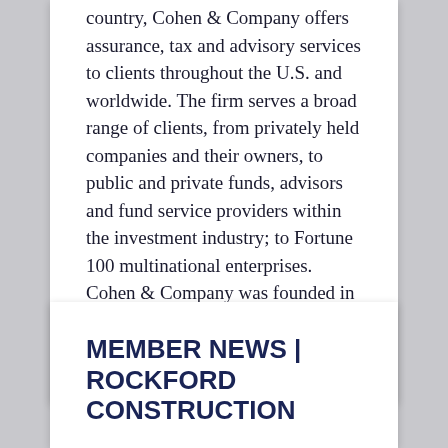country, Cohen & Company offers assurance, tax and advisory services to clients throughout the U.S. and worldwide. The firm serves a broad range of clients, from privately held companies and their owners, to public and private funds, advisors and fund service providers within the investment industry; to Fortune 100 multinational enterprises. Cohen & Company was founded in 1977; has
Read More...
MEMBER NEWS | ROCKFORD CONSTRUCTION